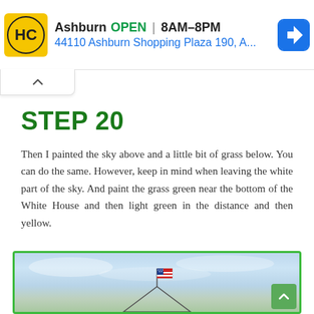[Figure (screenshot): Ad banner for Hamrick's Ashburn store showing logo, OPEN status, hours 8AM-8PM, and address 44110 Ashburn Shopping Plaza 190, A...]
STEP 20
Then I painted the sky above and a little bit of grass below. You can do the same. However, keep in mind when leaving the white part of the sky. And paint the grass green near the bottom of the White House and then light green in the distance and then yellow.
[Figure (illustration): Partial illustration of a White House drawing with a light blue sky background and a small American flag on a pole at the top of the building. Green grass visible at the bottom.]